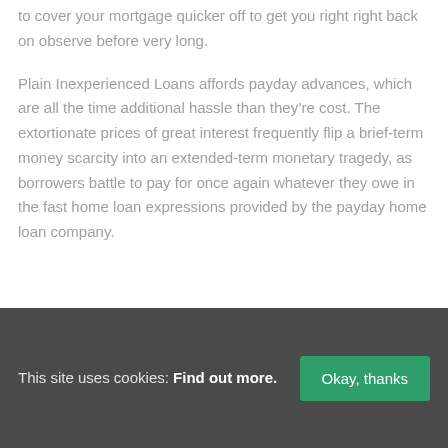to cover your mortgage quicker off to get you right right back on observe before very long.
Plain Inexperienced Loans affords payday advances, which are all the time additional hassle than they’re cost. The extortionate prices of great interest frequently flip a brief-term money scarcity into an extended-term monetary tragedy, as borrowers battle to pay for once again whatever they owe in the fast home loan expressions provided by the payday home loan company.
This site uses cookies: Find out more. [Okay, thanks]